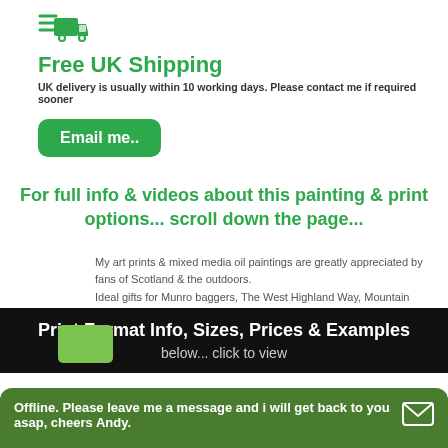[Figure (illustration): Green truck/delivery van icon]
Free UK Shipping
UK delivery is usually within 10 working days. Please contact me if required sooner
Email me..
For full info & videos about this painting & print options... scroll down the page...
My art prints & mixed media oil paintings are greatly appreciated by fans of Scotland & the outdoors.
Ideal gifts for Munro baggers, The West Highland Way, Mountain Lovers, WIdlife, The North Coast 500, Climbers, Hill Walkers, Mountaineers, Campers, Nature Lovers & Scottish Island Hoppers
Print Format Info, Sizes, Prices & Examples
below... click to view
Offline. Please leave me a message and i will get back to you asap, cheers Andy.